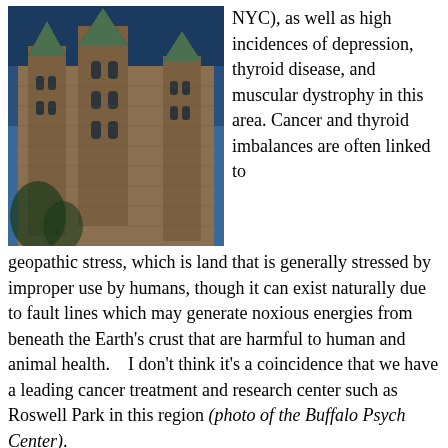[Figure (photo): Photograph of the Buffalo Psych Center, a large Gothic Revival brick building with tall towers and pointed arches, photographed at dusk with a blue sky background.]
NYC), as well as high incidences of depression, thyroid disease, and muscular dystrophy in this area. Cancer and thyroid imbalances are often linked to geopathic stress, which is land that is generally stressed by improper use by humans, though it can exist naturally due to fault lines which may generate noxious energies from beneath the Earth's crust that are harmful to human and animal health.   I don't think it's a coincidence that we have a leading cancer treatment and research center such as Roswell Park in this region (photo of the Buffalo Psych Center).
As mentioned, Buffalo does lie on a fault line and has experienced minor earthquakes in the past. Fault lines are fire energy and not only can they generate noxious